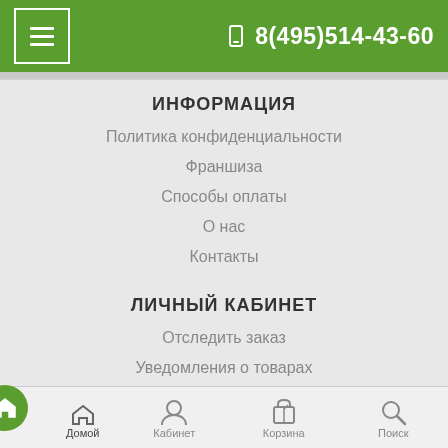≡  8(495)514-43-60
ИНФОРМАЦИЯ
Политика конфиденциальности
Франшиза
Способы оплаты
О нас
Контакты
ЛИЧНЫЙ КАБИНЕТ
Отследить заказ
Уведомления о товарах
Связь с менеджерами
Возврат товара
НАВИГАЦИЯ
Домой  Кабинет  Корзина  Поиск